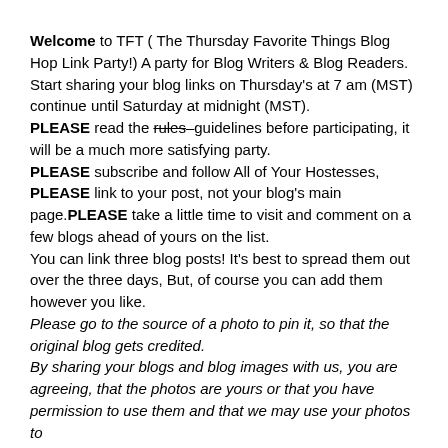Welcome to TFT ( The Thursday Favorite Things Blog Hop Link Party!) A party for Blog Writers & Blog Readers. Start sharing your blog links on Thursday's at 7 am (MST) continue until Saturday at midnight (MST).
PLEASE read the rules–guidelines before participating, it will be a much more satisfying party.
PLEASE subscribe and follow All of Your Hostesses, PLEASE link to your post, not your blog's main page. PLEASE take a little time to visit and comment on a few blogs ahead of yours on the list.
You can link three blog posts! It's best to spread them out over the three days, But, of course you can add them however you like.
Please go to the source of a photo to pin it, so that the original blog gets credited.
By sharing your blogs and blog images with us, you are agreeing, that the photos are yours or that you have permission to use them and that we may use your photos to